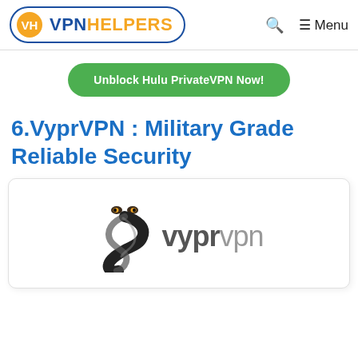VPN HELPERS — Q Menu
Unblock Hulu PrivateVPN Now!
6.VyprVPN : Military Grade Reliable Security
[Figure (logo): VyprVPN logo: stylized snake/tornado icon in dark grey/black with cat eyes, next to the text 'vyprvpn' in grey with 'vypr' slightly darker]